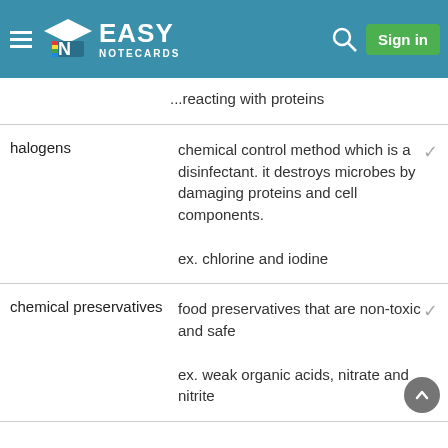Easy Notecards — Sign in
...reacting with proteins
| Term | Definition |
| --- | --- |
| halogens | chemical control method which is a disinfectant. it destroys microbes by damaging proteins and cell components.

ex. chlorine and iodine |
| chemical preservatives | food preservatives that are non-toxic and safe

ex. weak organic acids, nitrate and nitrite |